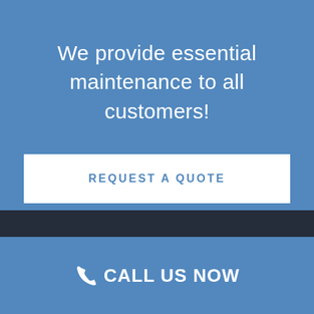We provide essential maintenance to all customers!
REQUEST A QUOTE
CALL US NOW